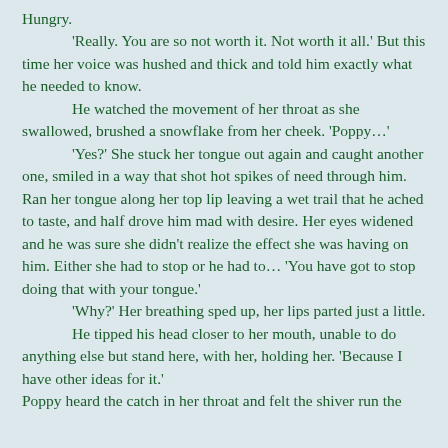Hungry.
	'Really. You are so not worth it. Not worth it all.' But this time her voice was hushed and thick and told him exactly what he needed to know.
	He watched the movement of her throat as she swallowed, brushed a snowflake from her cheek. 'Poppy…'
	'Yes?' She stuck her tongue out again and caught another one, smiled in a way that shot hot spikes of need through him. Ran her tongue along her top lip leaving a wet trail that he ached to taste, and half drove him mad with desire. Her eyes widened and he was sure she didn't realize the effect she was having on him. Either she had to stop or he had to… 'You have got to stop doing that with your tongue.'
	'Why?' Her breathing sped up, her lips parted just a little.
	He tipped his head closer to her mouth, unable to do anything else but stand here, with her, holding her. 'Because I have other ideas for it.'

Poppy heard the catch in her throat and felt the shiver run the